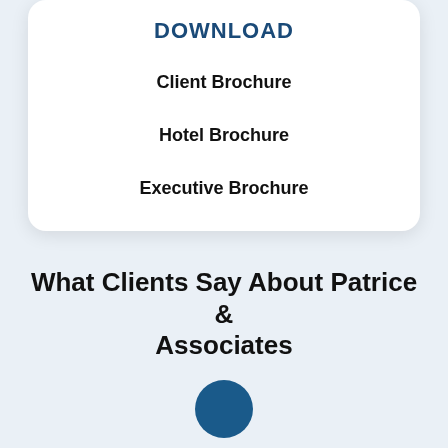DOWNLOAD
Client Brochure
Hotel Brochure
Executive Brochure
What Clients Say About Patrice & Associates
[Figure (illustration): Dark blue circle icon at bottom of page]